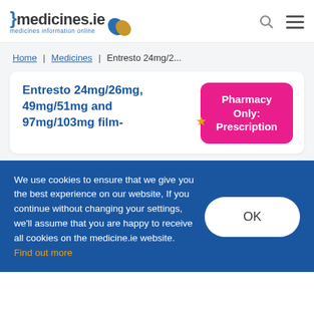[Figure (logo): medicines.ie logo with pill icon and tagline 'medicines information online']
Home | Medicines | Entresto 24mg/2...
Entresto 24mg/26mg, 49mg/51mg and 97mg/103mg film-
Pharmacy Only: Prescription
We use cookies to ensure that we give you the best experience on our website, If you continue without changing your settings, we'll assume that you are happy to receive all cookies on the medicine.ie website. Find out more